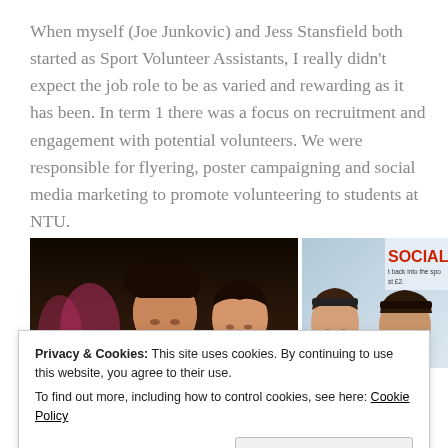When myself (Joe Junkovic) and Jess Stansfield both started as Sport Volunteer Assistants, I really didn't expect the job role to be as varied and rewarding as it has been. In term 1 there was a focus on recruitment and engagement with potential volunteers. We were responsible for flyering, poster campaigning and social media marketing to promote volunteering to students at NTU.
[Figure (photo): Two-panel photo strip: left panel shows a group of young women in pink/black sportswear in a dark gym setting; right panel shows two women in front of a 'SOCIAL SP' sign with text about getting back into sport at cost of £2.]
Privacy & Cookies: This site uses cookies. By continuing to use this website, you agree to their use.
To find out more, including how to control cookies, see here: Cookie Policy
Close and accept